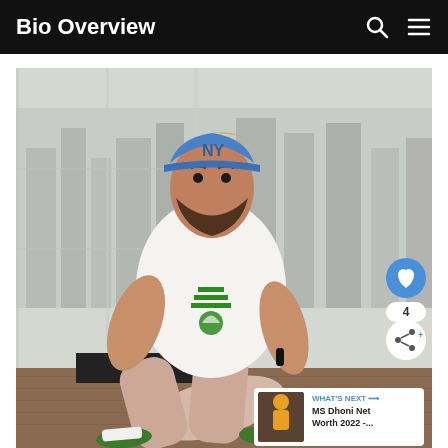Bio Overview
[Figure (photo): Man wearing a white Adidas t-shirt, beige pants, and green shoes, with a blue and yellow NY Yankees cap, sitting on a rooftop terrace with a city skyline background. Social sharing buttons (heart, count 4, share) on the right side. A 'WHAT'S NEXT' card in the bottom right shows a thumbnail and text 'MS Dhoni Net Worth 2022 -...']